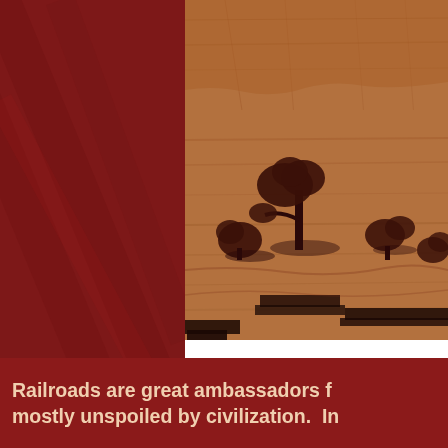[Figure (photo): Aerial or landscape photo of a desert/arid terrain with scattered dark shrubby trees and reddish-brown rocky ground with dramatic shadows, tinted in warm red-brown tones.]
Railroads are great ambassadors f mostly unspoiled by civilization.  In